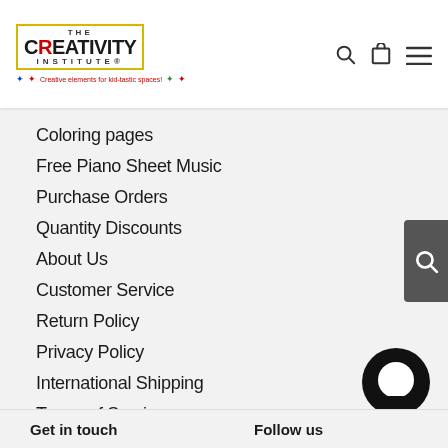[Figure (logo): The Creativity Institute logo with tagline 'Creative elements for kid-tastic spaces!' and colorful star figures]
Coloring pages
Free Piano Sheet Music
Purchase Orders
Quantity Discounts
About Us
Customer Service
Return Policy
Privacy Policy
International Shipping
Terms of Service
Reviews
My account
Get in touch
Follow us